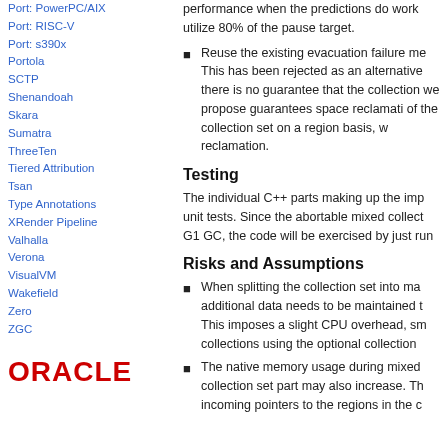Port: PowerPC/AIX
Port: RISC-V
Port: s390x
Portola
SCTP
Shenandoah
Skara
Sumatra
ThreeTen
Tiered Attribution
Tsan
Type Annotations
XRender Pipeline
Valhalla
Verona
VisualVM
Wakefield
Zero
ZGC
[Figure (logo): Oracle logo in red bold text]
performance when the predictions do work utilize 80% of the pause target.
Reuse the existing evacuation failure mechanism. This has been rejected as an alternative because there is no guarantee that the collection we propose guarantees space reclamation of the collection set on a region basis, w reclamation.
Testing
The individual C++ parts making up the implementation will have unit tests. Since the abortable mixed collection depends on G1 GC, the code will be exercised by just running.
Risks and Assumptions
When splitting the collection set into mandatory and optional, additional data needs to be maintained. This imposes a slight CPU overhead, smaller collections using the optional collection.
The native memory usage during mixed collection set part may also increase. This incoming pointers to the regions in the c.